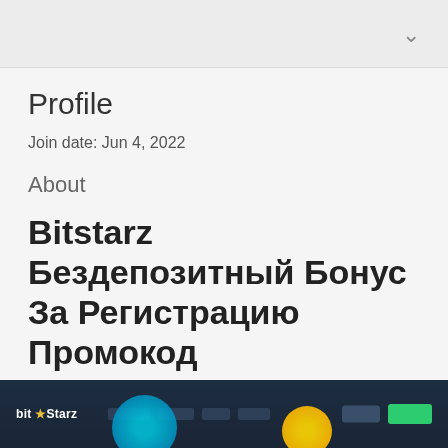Profile
Join date: Jun 4, 2022
About
Bitstarz Бездепозитный Бонус За Регистрацию Промокод
Bitstarz Бездепозитный Бонус За Регистрацию Промокод
[Figure (screenshot): Screenshot of Bitstarz casino website header with logo, navigation items, and colorful background]